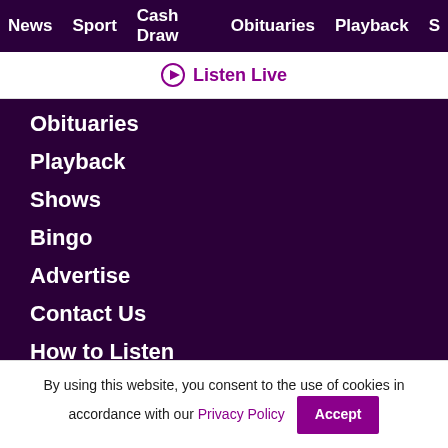News  Sport  Cash Draw  Obituaries  Playback  S
▶ Listen Live
Obituaries
Playback
Shows
Bingo
Advertise
Contact Us
How to Listen
By using this website, you consent to the use of cookies in accordance with our Privacy Policy  Accept